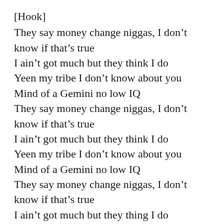[Hook]
They say money change niggas, I don't know if that's true
I ain't got much but they think I do
Yeen my tribe I don't know about you
Mind of a Gemini no low IQ
They say money change niggas, I don't know if that's true
I ain't got much but they think I do
Yeen my tribe I don't know about you
Mind of a Gemini no low IQ
They say money change niggas, I don't know if that's true
I ain't got much but they thing I do
Yeen my tribe I don't know about you
Mind of a Gemini no low IQ
They say money change niggas, I don't